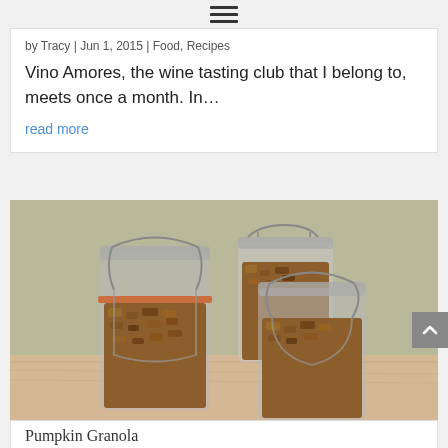☰ (hamburger menu icon)
by Tracy | Jun 1, 2015 | Food, Recipes
Vino Amores, the wine tasting club that I belong to, meets once a month. In…
read more
[Figure (photo): Three glass mason/Kilner jars with wire bail latch lids, filled with granola, sitting on a wooden surface with an olive/tan background. Two larger jars in front, one smaller jar behind.]
Pumpkin Granola